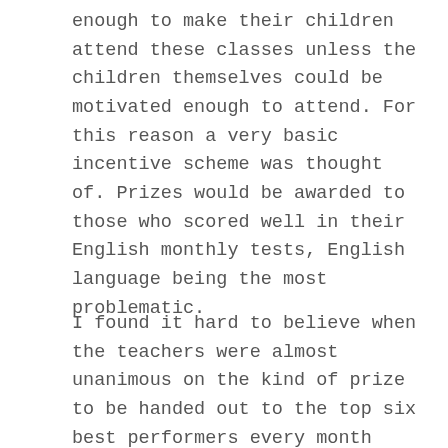enough to make their children attend these classes unless the children themselves could be motivated enough to attend. For this reason a very basic incentive scheme was thought of. Prizes would be awarded to those who scored well in their English monthly tests, English language being the most problematic.
I found it hard to believe when the teachers were almost unanimous on the kind of prize to be handed out to the top six best performers every month